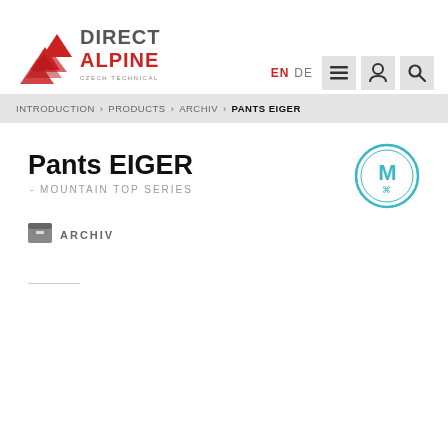[Figure (logo): Direct Alpine logo - red chevron arrows with DIRECT ALPINE text and 'CZECH TECHNICAL OUTDOOR WEAR' tagline]
EN  DE  [menu icon]  [account icon]  [search icon]
INTRODUCTION > PRODUCTS > ARCHIV > PANTS EIGER
Pants EIGER
- MOUNTAIN TOP SERIES
[Figure (logo): Mountain Top Series circular badge/seal in teal/cyan color]
ARCHIV